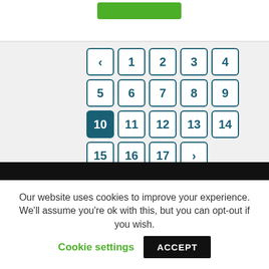[Figure (screenshot): Pagination widget showing page buttons 1-17 arranged in a 5-column grid. A back arrow '<' is in position 1, numbers 1-17 fill subsequent cells, and a forward arrow '>' follows 17. Page 10 is highlighted in dark teal as the active page.]
Our website uses cookies to improve your experience. We'll assume you're ok with this, but you can opt-out if you wish.
Cookie settings
ACCEPT